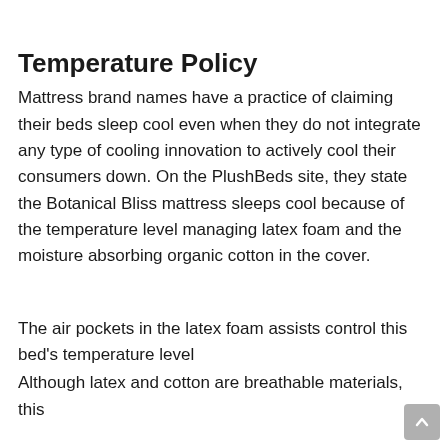Temperature Policy
Mattress brand names have a practice of claiming their beds sleep cool even when they do not integrate any type of cooling innovation to actively cool their consumers down. On the PlushBeds site, they state the Botanical Bliss mattress sleeps cool because of the temperature level managing latex foam and the moisture absorbing organic cotton in the cover.
The air pockets in the latex foam assists control this bed's temperature level
Although latex and cotton are breathable materials, this